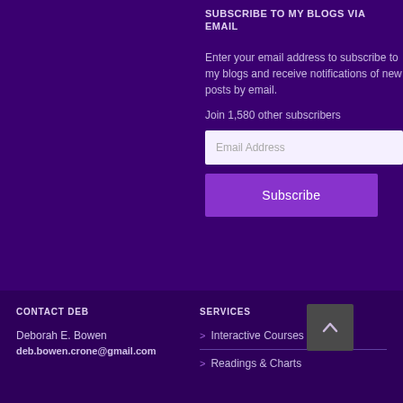SUBSCRIBE TO MY BLOGS VIA EMAIL
Enter your email address to subscribe to my blogs and receive notifications of new posts by email.
Join 1,580 other subscribers
Email Address
Subscribe
CONTACT DEB
Deborah E. Bowen
deb.bowen.crone@gmail.com
SERVICES
Interactive Courses
Readings & Charts